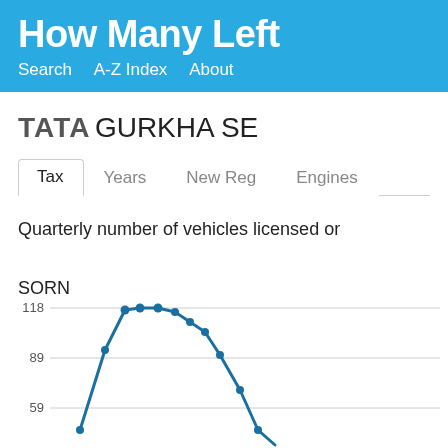How Many Left
Search   A-Z Index   About
TATA GURKHA SE
Tax   Years   New Reg   Engines
Quarterly number of vehicles licensed or SORN
[Figure (line-chart): Line chart showing quarterly vehicle count rising to peak around 118, then declining through 89 toward 59]